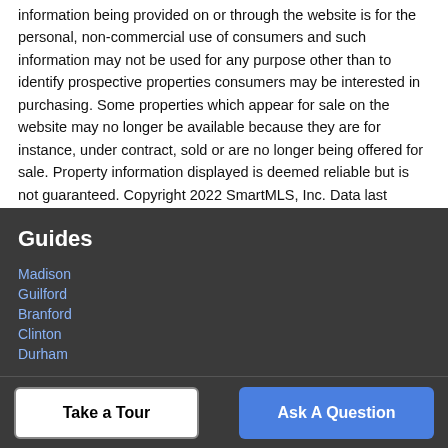information being provided on or through the website is for the personal, non-commercial use of consumers and such information may not be used for any purpose other than to identify prospective properties consumers may be interested in purchasing. Some properties which appear for sale on the website may no longer be available because they are for instance, under contract, sold or are no longer being offered for sale. Property information displayed is deemed reliable but is not guaranteed. Copyright 2022 SmartMLS, Inc. Data last updated: 2022-08-20T20:10:04.497.
Guides
Madison
Guilford
Branford
Clinton
Durham